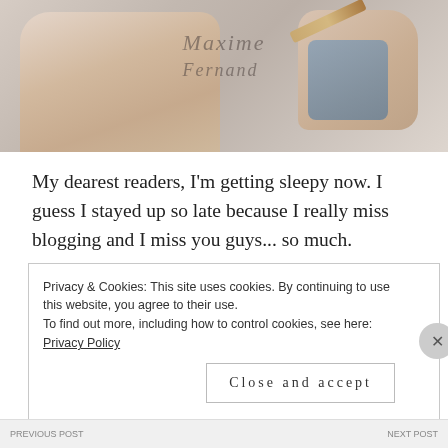[Figure (photo): Photo of hands writing calligraphy script on paper, with a pencil visible, person wearing denim clothing]
My dearest readers, I'm getting sleepy now. I guess I stayed up so late because I really miss blogging and I miss you guys... so much.
So, please leave me a comment below. Tell me why you started blogging. Share with me one or two reasons why you continue to blog. Or just say Hi and feel free to share with me some of your blogging joys and woes. I'd really love to hear from you!
Privacy & Cookies: This site uses cookies. By continuing to use this website, you agree to their use.
To find out more, including how to control cookies, see here: Privacy Policy
Close and accept